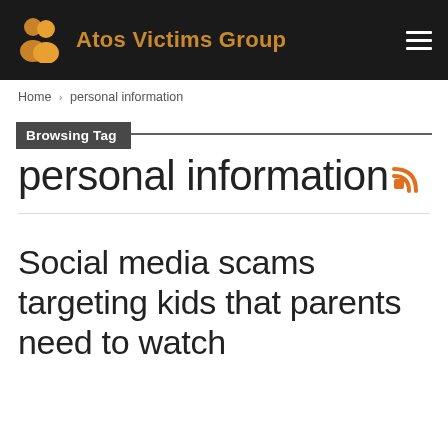Atos Victims Group
Home › personal information
Browsing Tag
personal information
Social media scams targeting kids that parents need to watch